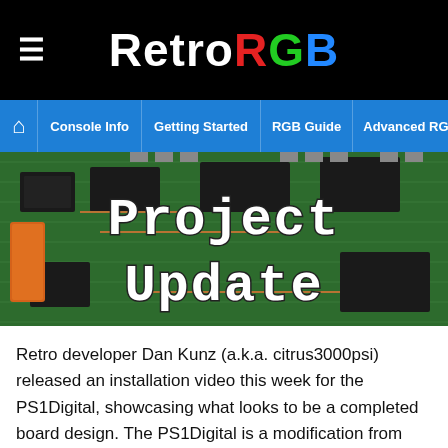RetroRGB
Console Info | Getting Started | RGB Guide | Advanced RGB Info | Ab...
[Figure (photo): Circuit board (PCB) close-up with text overlay reading 'Project Update' in pixel/retro style font]
Retro developer Dan Kunz (a.k.a. citrus3000psi) released an installation video this week for the PS1Digital, showcasing what looks to be a completed board design. The PS1Digital is a modification from citrus300psi and chriz2600 that that adds HDMI output to certain models of the original Playstation, in addition to some mod-chip